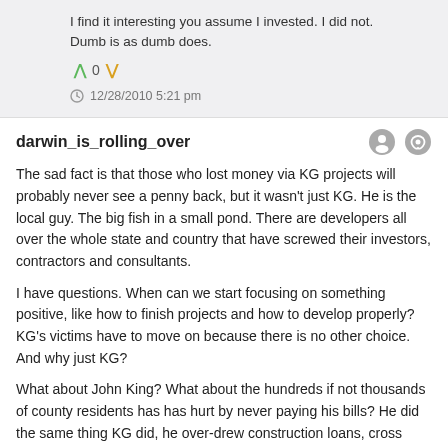I find it interesting you assume I invested. I did not. Dumb is as dumb does.
0
12/28/2010 5:21 pm
darwin_is_rolling_over
The sad fact is that those who lost money via KG projects will probably never see a penny back, but it wasn't just KG. He is the local guy. The big fish in a small pond. There are developers all over the whole state and country that have screwed their investors, contractors and consultants.
I have questions. When can we start focusing on something positive, like how to finish projects and how to develop properly? KG's victims have to move on because there is no other choice. And why just KG?
What about John King? What about the hundreds if not thousands of county residents has has hurt by never paying his bills? He did the same thing KG did, he over-drew construction loans, cross leveraged projects and failed to pay his contractor and consultants. Where is the fire over